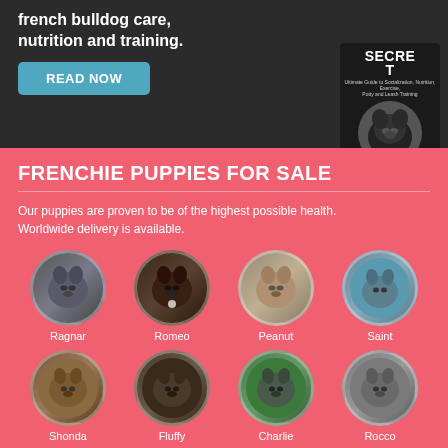french bulldog care, nutrition and training.
READ NOW
[Figure (photo): French Bulldog book cover with dog wearing red bowtie]
FRENCHIE PUPPIES FOR SALE
Our puppies are proven to be of the highest possible health. Worldwide delivery is available.
[Figure (photo): Eight circular puppy photos: Ragnar, Romeo, Peanut, Saint, Shonda, Fluffy, Charlie, Rocco]